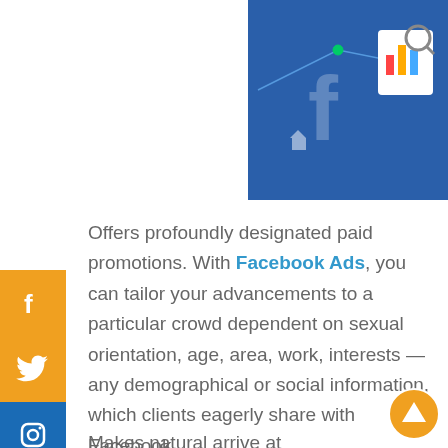[Figure (illustration): Blue background marketing illustration with Facebook logo, line graph, and analytics/report icon with magnifying glass]
Offers profoundly designated paid promotions. With Facebook Ads, you can tailor your advancements to a particular crowd dependent on sexual orientation, age, area, work, interests — any demographical or social information, which clients eagerly share with Facebook.
Makes natural arrive at